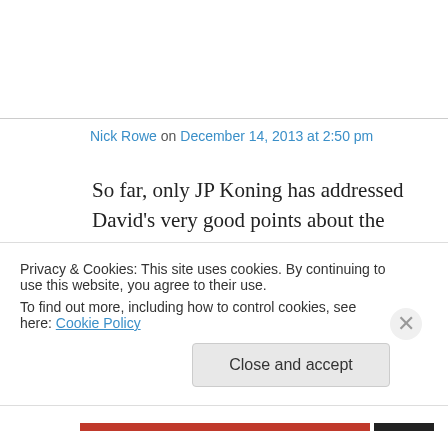Nick Rowe on December 14, 2013 at 2:50 pm
So far, only JP Koning has addressed David’s very good points about the plumbing. Where are the finance people?
(And only JP has addressed one of my points about the plumbing.)
Privacy & Cookies: This site uses cookies. By continuing to use this website, you agree to their use.
To find out more, including how to control cookies, see here: Cookie Policy
Close and accept